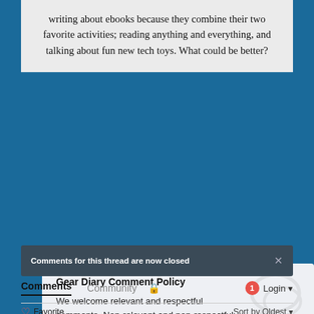writing about ebooks because they combine their two favorite activities; reading anything and everything, and talking about fun new tech toys. What could be better?
Gear Diary Comment Policy
We welcome relevant and respectful comments. Non-relevant and non-respectful comments may be removed.
Comments for this thread are now closed
Comments  Community  🔒  1  Login ▾
♡ Favorite   Sort by Oldest ▾